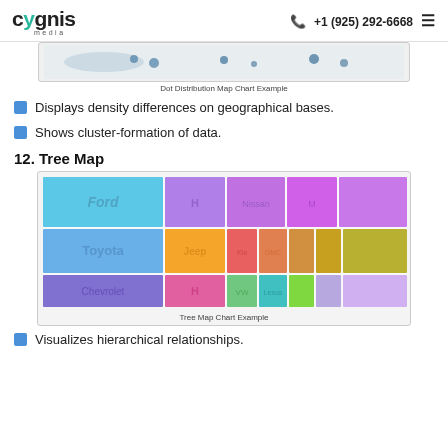cygnis media  +1 (925) 292-6668
[Figure (map): Dot Distribution Map Chart Example - a partial map image showing dots distributed across a geographical area]
Dot Distribution Map Chart Example
Displays density differences on geographical bases.
Shows cluster-formation of data.
12. Tree Map
[Figure (infographic): Tree Map Chart Example showing car brand market share as colored rectangles: Ford, Honda, Nissan in top row; Toyota, Jeep, and others in middle rows; Chevrolet, Hyundai, VW, Lexus, and others in bottom rows]
Tree Map Chart Example
Visualizes hierarchical relationships.